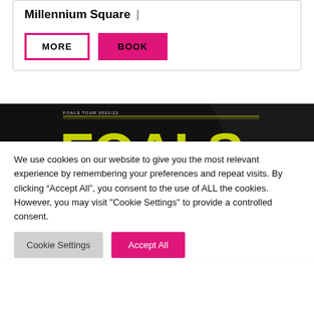Millennium Square
MORE | BOOK
[Figure (photo): Foals Tour 2021/22 promotional banner image with large yellow-green FOALS text on dark background]
We use cookies on our website to give you the most relevant experience by remembering your preferences and repeat visits. By clicking “Accept All”, you consent to the use of ALL the cookies. However, you may visit "Cookie Settings" to provide a controlled consent.
Cookie Settings | Accept All